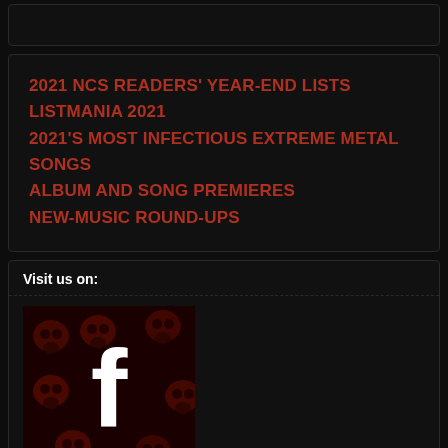2021 NCS READERS' YEAR-END LISTS
LISTMANIA 2021
2021'S MOST INFECTIOUS EXTREME METAL SONGS
ALBUM AND SONG PREMIERES
NEW-MUSIC ROUND-UPS
Visit us on:
[Figure (logo): Facebook logo icon with dark red skull pattern background and white 'f' letterform]
Meta
Register
Log in
Entries feed